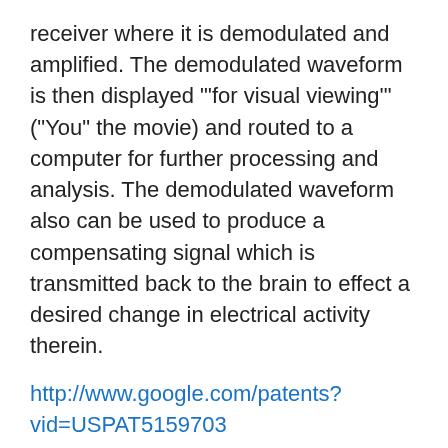receiver where it is demodulated and amplified. The demodulated waveform is then displayed "'for visual viewing'" ("You" the movie) and routed to a computer for further processing and analysis. The demodulated waveform also can be used to produce a compensating signal which is transmitted back to the brain to effect a desired change in electrical activity therein.
http://www.google.com/patents?vid=USPAT5159703 "'SILENT SUBLIMINAL PRESENTATION SYSTEM – very low or very high audio frequency range or in the adjacent ultrasonic frequency spectrum, are amplitude or frequency modulated with the desired intelligence.
http://www.google.com/patents?vid=USPAT5507291 "'… REMOTELY DETERMINING INFORMATION AS TO A PERSON'S EMOTIONAL STATE – emo detection system